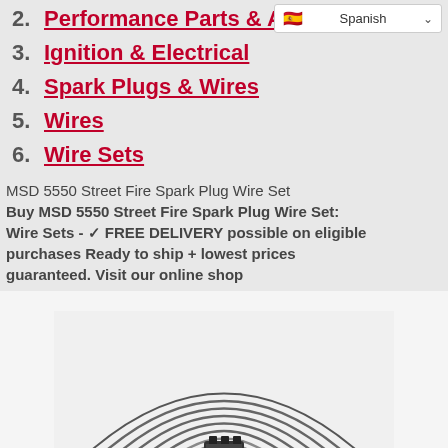2. Performance Parts & Accessories
3. Ignition & Electrical
4. Spark Plugs & Wires
5. Wires
6. Wire Sets
MSD 5550 Street Fire Spark Plug Wire Set Buy MSD 5550 Street Fire Spark Plug Wire Set: Wire Sets - ✓ FREE DELIVERY possible on eligible purchases Ready to ship + lowest prices guaranteed. Visit our online shop
[Figure (photo): MSD 5550 Street Fire Spark Plug Wire Set product image showing multiple curved spark plug wires arranged in a fan pattern with connectors]